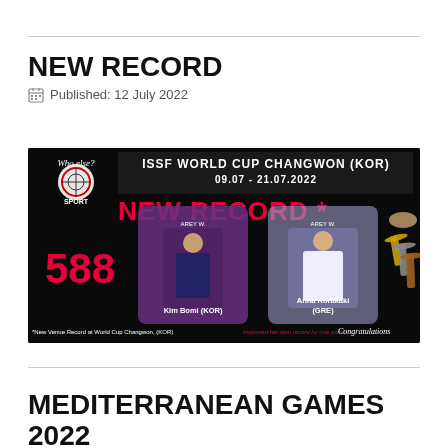NEW RECORD
Published: 12 July 2022
[Figure (photo): ISSF World Cup Changwon (KOR) 09.07 - 21.07.2022 banner showing NEW RECORD * with score 588, featuring Kim Bomi (KOR) and Anna Korakaki (GRE), medals, SPAR Sport logo. Caption: *New Venue Record at World Cup Changwon, (KOR). Improved her own record by one point.]
MEDITERRANEAN GAMES 2022